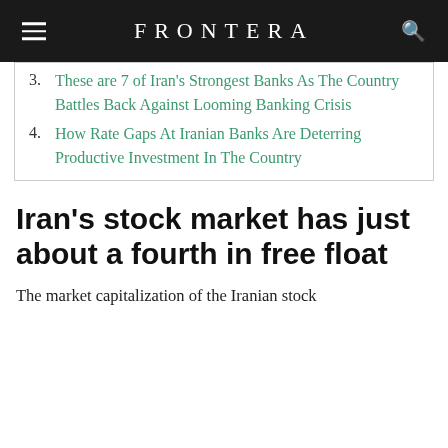FRONTERA
3. These are 7 of Iran's Strongest Banks As The Country Battles Back Against Looming Banking Crisis
4. How Rate Gaps At Iranian Banks Are Deterring Productive Investment In The Country
Iran's stock market has just about a fourth in free float
The market capitalization of the Iranian stock